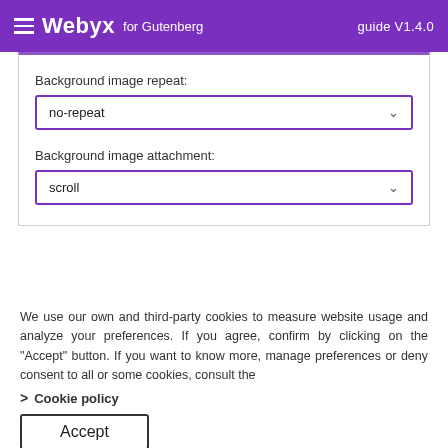Webyx for Gutenberg — guide V1.4.0
[Figure (screenshot): UI panel showing two dropdown fields: 'Background image repeat' set to 'no-repeat' and 'Background image attachment' set to 'scroll']
We use our own and third-party cookies to measure website usage and analyze your preferences. If you agree, confirm by clicking on the "Accept" button. If you want to know more, manage preferences or deny consent to all or some cookies, consult the
> Cookie policy
Accept